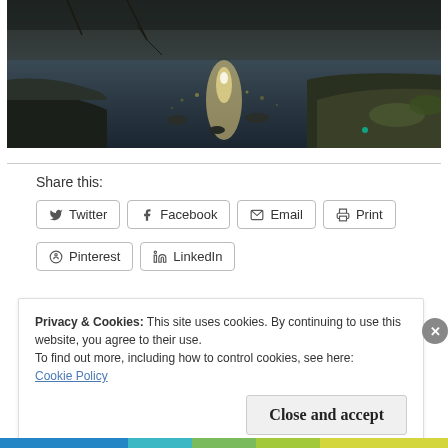[Figure (photo): Outdoor creek or river scene with sunlight reflecting off water surface, rocky banks, bare trees and some greenery on the right bank.]
Share this:
Twitter
Facebook
Email
Print
Pinterest
LinkedIn
Privacy & Cookies: This site uses cookies. By continuing to use this website, you agree to their use.
To find out more, including how to control cookies, see here:
Cookie Policy
Close and accept